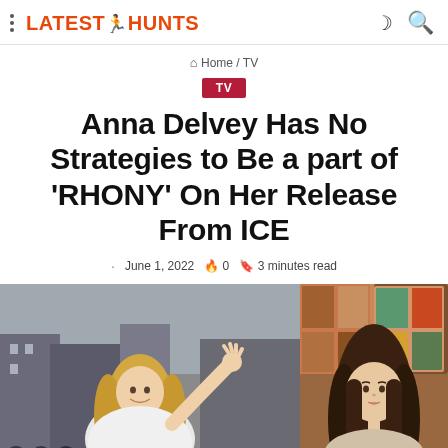LATEST HUNTS — Home / TV
Home / TV
TV
Anna Delvey Has No Strategies to Be a part of ‘RHONY’ On Her Release From ICE
June 1, 2022  0  3 minutes read
[Figure (photo): Two photos side by side: left photo shows a smiling blonde woman waving, right photo shows a brunette woman.]